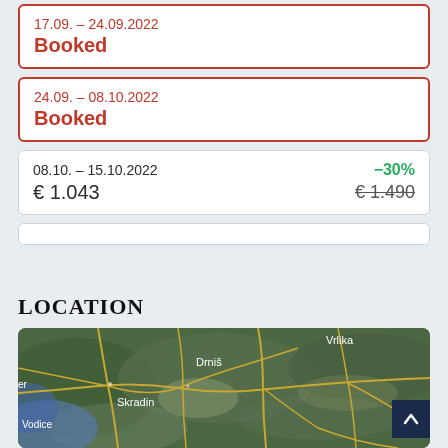17.09. – 24.09.2022
Booked
24.09. – 08.10.2022
Booked
08.10. – 15.10.2022   -30%
€ 1.043   € 1.490
LOCATION
[Figure (map): Satellite map of Croatian coast region showing Vrlika, Drniš, Skradin, Vodice with road network overlaid in yellow]